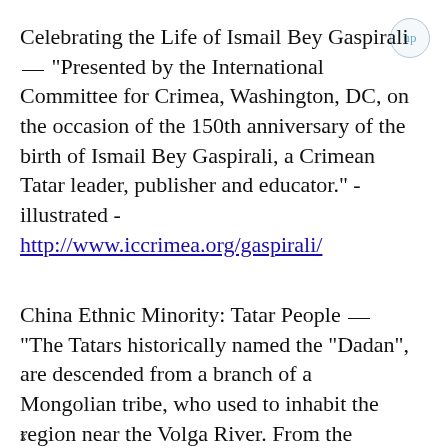Celebrating the Life of Ismail Bey Gaspirali __ "Presented by the International Committee for Crimea, Washington, DC, on the occasion of the 150th anniversary of the birth of Ismail Bey Gaspirali, a Crimean Tatar leader, publisher and educator." - illustrated - http://www.iccrimea.org/gaspirali/
China Ethnic Minority: Tatar People __ "The Tatars historically named the "Dadan", are descended from a branch of a Mongolian tribe, who used to inhabit the region near the Volga River. From the beginning of
x